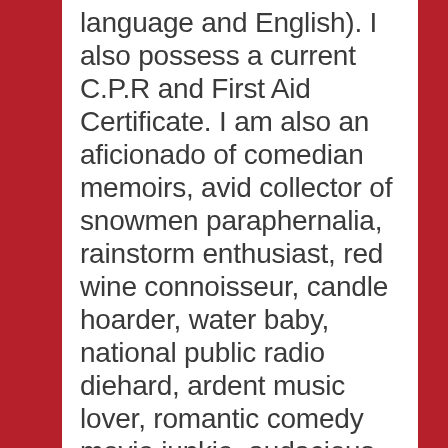language and English). I also possess a current C.P.R and First Aid Certificate. I am also an aficionado of comedian memoirs, avid collector of snowmen paraphernalia, rainstorm enthusiast, red wine connoisseur, candle hoarder, water baby, national public radio diehard, ardent music lover, romantic comedy movie junkie, audacious self-published author, as well as an extraordinarily passionate preschool teacher and director, who is college educated with a background in theater, psychology and child development. I’ve received various certificates of notable accomplishments for my commitment to educating children and have self-